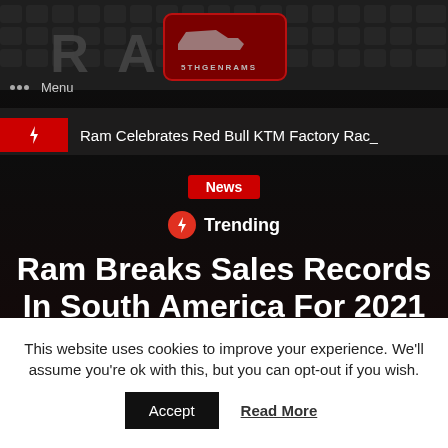[Figure (screenshot): Dark RAM truck grille close-up background image with RAM lettering]
Menu
Ram Celebrates Red Bull KTM Factory Rac_
News
Trending
Ram Breaks Sales Records In South America For 2021 Model Year!
This website uses cookies to improve your experience. We'll assume you're ok with this, but you can opt-out if you wish.
Accept  Read More